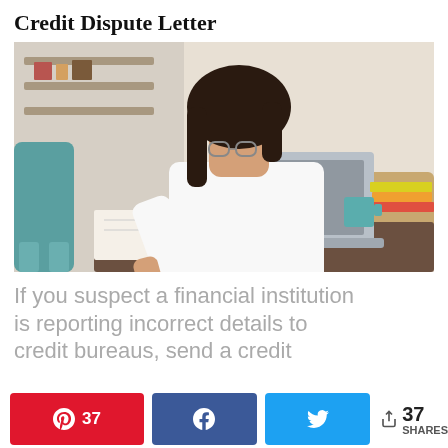Credit Dispute Letter
[Figure (photo): Woman with glasses in white shirt writing in notebook at desk with laptop, books, and coffee mug in background]
If you suspect a financial institution is reporting incorrect details to credit bureaus, send a credit
[Figure (infographic): Social share bar with Pinterest button showing 37 shares, Facebook button, Twitter button, and total share count of 37 SHARES]